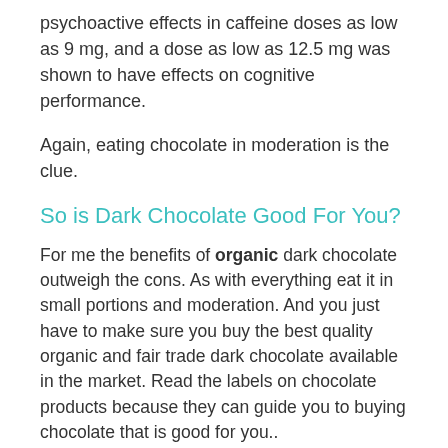psychoactive effects in caffeine doses as low as 9 mg, and a dose as low as 12.5 mg was shown to have effects on cognitive performance.
Again, eating chocolate in moderation is the clue.
So is Dark Chocolate Good For You?
For me the benefits of organic dark chocolate outweigh the cons. As with everything eat it in small portions and moderation. And you just have to make sure you buy the best quality organic and fair trade dark chocolate available in the market. Read the labels on chocolate products because they can guide you to buying chocolate that is good for you..
Labeling